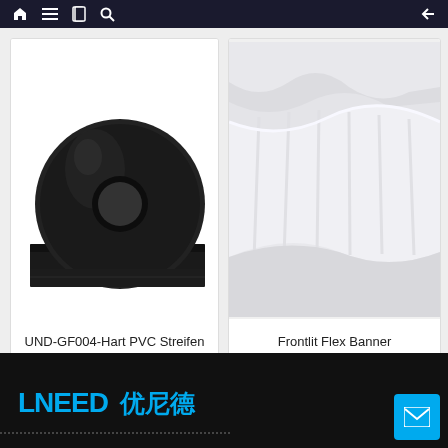Navigation bar with home, menu, bookmarks, search icons and back arrow
[Figure (photo): Black PVC roll/strip on white background]
UND-GF004-Hart PVC Streifen
[Figure (photo): White/light grey folded flex banner material on white background]
Frontlit Flex Banner
[Figure (other): Carousel pagination: three dots, first filled black, second and third light grey]
[Figure (logo): LNEED 优尼德 logo in cyan/blue on black background]
Dotted line and mail contact button